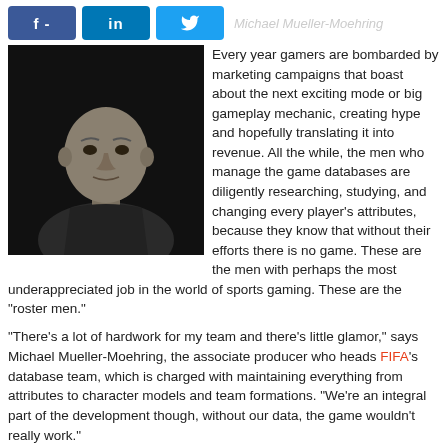[Figure (other): Social media share buttons: Facebook (f -), LinkedIn (in), Twitter (bird icon), and faint header text 'Michael Mueller-Moehring']
[Figure (photo): Black and white portrait photo of a middle-aged bald man wearing a dark long-sleeve shirt, against a dark background — Michael Mueller-Moehring]
Every year gamers are bombarded by marketing campaigns that boast about the next exciting mode or big gameplay mechanic, creating hype and hopefully translating it into revenue. All the while, the men who manage the game databases are diligently researching, studying, and changing every player's attributes, because they know that without their efforts there is no game. These are the men with perhaps the most underappreciated job in the world of sports gaming. These are the "roster men."
"There's a lot of hardwork for my team and there's little glamor," says Michael Mueller-Moehring, the associate producer who heads FIFA's database team, which is charged with maintaining everything from attributes to character models and team formations. "We're an integral part of the development though, without our data, the game wouldn't really work."